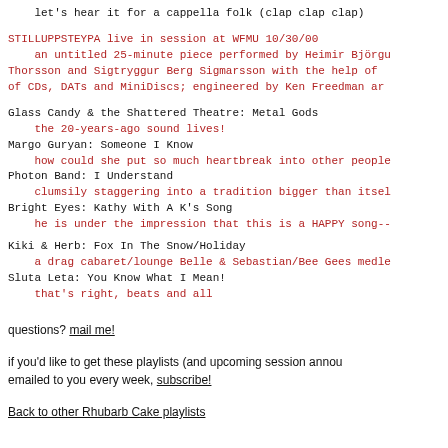let's hear it for a cappella folk (clap clap clap)
STILLUPPSTEYPA live in session at WFMU 10/30/00
    an untitled 25-minute piece performed by Heimir Björgu
Thorsson and Sigtryggur Berg Sigmarsson with the help of
of CDs, DATs and MiniDiscs; engineered by Ken Freedman ar
Glass Candy & the Shattered Theatre: Metal Gods
    the 20-years-ago sound lives!
Margo Guryan: Someone I Know
    how could she put so much heartbreak into other people
Photon Band: I Understand
    clumsily staggering into a tradition bigger than itsel
Bright Eyes: Kathy With A K's Song
    he is under the impression that this is a HAPPY song--
Kiki & Herb: Fox In The Snow/Holiday
    a drag cabaret/lounge Belle & Sebastian/Bee Gees medle
Sluta Leta: You Know What I Mean!
    that's right, beats and all
questions? mail me!
if you'd like to get these playlists (and upcoming session annou emailed to you every week, subscribe!
Back to other Rhubarb Cake playlists